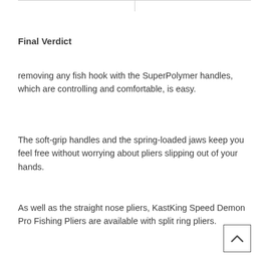|  |  |
| --- | --- |
|  |
Final Verdict
removing any fish hook with the SuperPolymer handles, which are controlling and comfortable, is easy.
The soft-grip handles and the spring-loaded jaws keep you feel free without worrying about pliers slipping out of your hands.
As well as the straight nose pliers, KastKing Speed Demon Pro Fishing Pliers are available with split ring pliers.